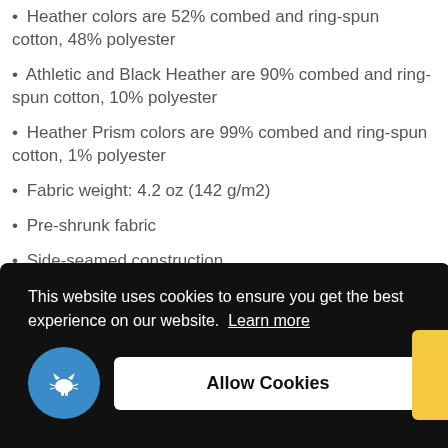Heather colors are 52% combed and ring-spun cotton, 48% polyester
Athletic and Black Heather are 90% combed and ring-spun cotton, 10% polyester
Heather Prism colors are 99% combed and ring-spun cotton, 1% polyester
Fabric weight: 4.2 oz (142 g/m2)
Pre-shrunk fabric
Side-seamed construction
This website uses cookies to ensure you get the best experience on our website. Learn more
Allow Cookies